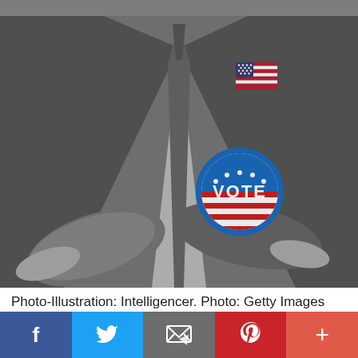[Figure (photo): Black and white photo-illustration of a man in a suit with arms crossed. He wears an American flag pin on his lapel and a circular blue 'VOTE' button with red and white stripes. The top of the image shows a red banner strip. The face is cropped out.]
Photo-Illustration: Intelligencer. Photo: Getty Images